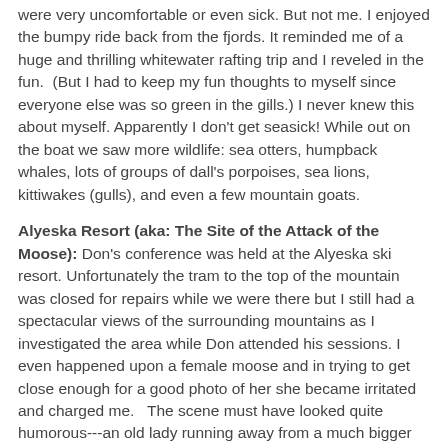were very uncomfortable or even sick. But not me. I enjoyed the bumpy ride back from the fjords. It reminded me of a huge and thrilling whitewater rafting trip and I reveled in the fun.  (But I had to keep my fun thoughts to myself since everyone else was so green in the gills.) I never knew this about myself. Apparently I don't get seasick! While out on the boat we saw more wildlife: sea otters, humpback whales, lots of groups of dall's porpoises, sea lions, kittiwakes (gulls), and even a few mountain goats.
Alyeska Resort (aka: The Site of the Attack of the Moose): Don's conference was held at the Alyeska ski resort. Unfortunately the tram to the top of the mountain was closed for repairs while we were there but I still had a spectacular views of the surrounding mountains as I investigated the area while Don attended his sessions. I even happened upon a female moose and in trying to get close enough for a good photo of her she became irritated and charged me.   The scene must have looked quite humorous---an old lady running away from a much bigger and faster moose. I am able to laugh because she gave up the chase and went back to grazing. People who know